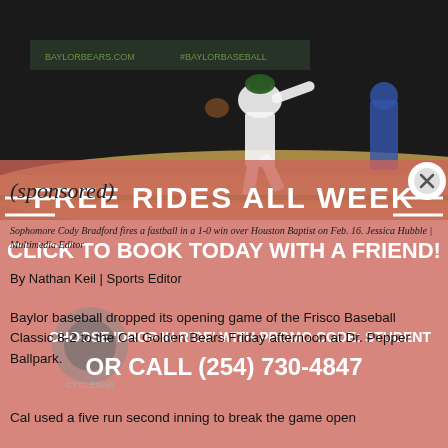[Figure (photo): Sophomore Cody Bradford pitching, firing a fastball at night game, Baylor baseball uniform]
(sponsored)
Sophomore Cody Bradford fires a fastball in a 1-0 win over Houston Baptist on Feb. 16. Jessica Hubble | Multimedia Editor
By Nathan Keil | Sports Editor
Baylor baseball dropped its opening game of the Frisco Baseball Classic 8-2 to the Cal Golden Bears Friday afternoon at Dr. Pepper Ballpark.
Cal used a five run second inning to break the game open
[Figure (infographic): Advertisement overlay: FREE RIDES ALL WEEK - CLICK TO BOOK TODAY WITH A FRIEND! CHOOSE 'DROP IN RIDE' WITH PROMO CODE: STUDENT OR CALL (254) 730-4847 - CycleBar logo]